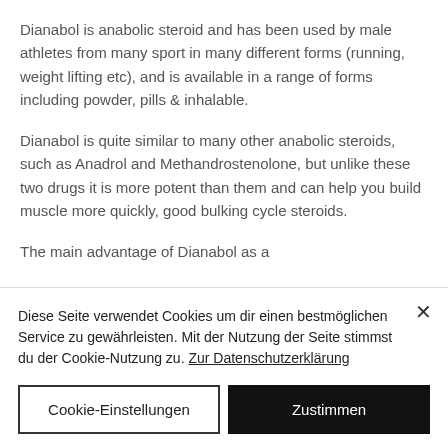Dianabol is anabolic steroid and has been used by male athletes from many sport in many different forms (running, weight lifting etc), and is available in a range of forms including powder, pills & inhalable.
Dianabol is quite similar to many other anabolic steroids, such as Anadrol and Methandrostenolone, but unlike these two drugs it is more potent than them and can help you build muscle more quickly, good bulking cycle steroids.
The main advantage of Dianabol as a
Diese Seite verwendet Cookies um dir einen bestmöglichen Service zu gewährleisten. Mit der Nutzung der Seite stimmst du der Cookie-Nutzung zu. Zur Datenschutzerklärung
Cookie-Einstellungen
Zustimmen